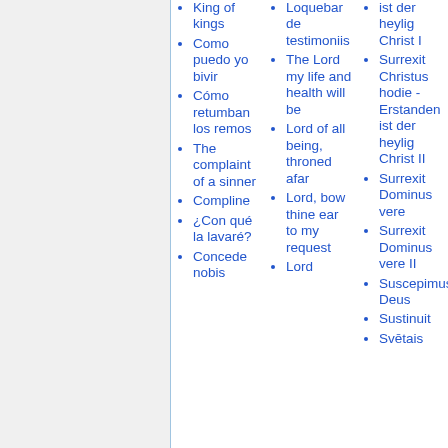King of kings
Como puedo yo bivir
Cómo retumban los remos
The complaint of a sinner
Compline
¿Con qué la lavaré?
Concede nobis
Loquebar de testimoniis
The Lord my life and health will be
Lord of all being, throned afar
Lord, bow thine ear to my request
Lord
ist der heylig Christ I
Surrexit Christus hodie - Erstanden ist der heylig Christ II
Surrexit Dominus vere
Surrexit Dominus vere II
Suscepimus Deus
Sustinuit
Svētais